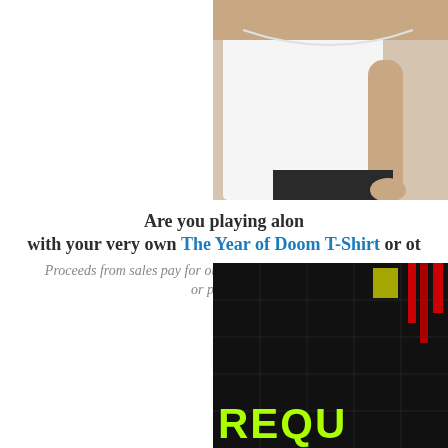[Figure (photo): Partial photo of a person wearing a white t-shirt, cropped showing torso and arms, upper right corner of page]
Are you playing alon with your very own The Year of Doom T-Shirt or ot
Proceeds from sales pay for our website, image hosting, and pri or profit fro
[Figure (photo): Dark/black background image with green text reading 'REQU' and red bars visible, bottom right corner of page]